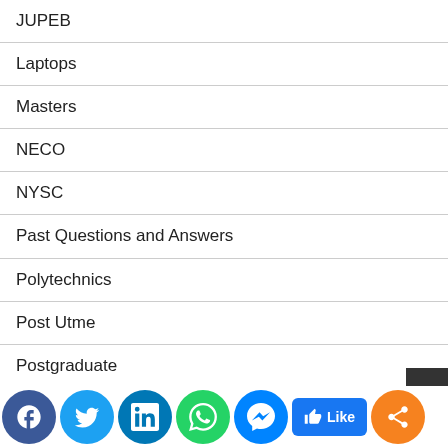JUPEB
Laptops
Masters
NECO
NYSC
Past Questions and Answers
Polytechnics
Post Utme
Postgraduate
Prices in Nigeria
Scholarships